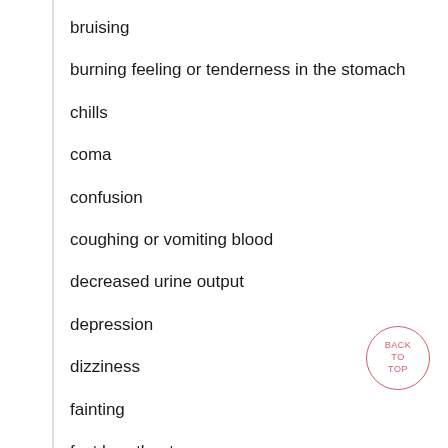bruising
burning feeling or tenderness in the stomach
chills
coma
confusion
coughing or vomiting blood
decreased urine output
depression
dizziness
fainting
fast heartbeat